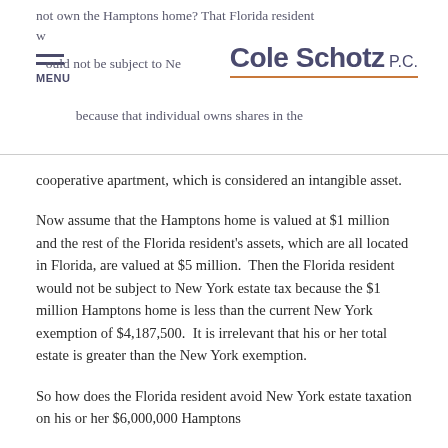not own the Hamptons home? That Florida resident would not be subject to New York estate tax because that individual owns shares in the cooperative apartment, which is considered an intangible asset.
Now assume that the Hamptons home is valued at $1 million and the rest of the Florida resident's assets, which are all located in Florida, are valued at $5 million.  Then the Florida resident would not be subject to New York estate tax because the $1 million Hamptons home is less than the current New York exemption of $4,187,500.  It is irrelevant that his or her total estate is greater than the New York exemption.
So how does the Florida resident avoid New York estate taxation on his or her $6,000,000 Hamptons